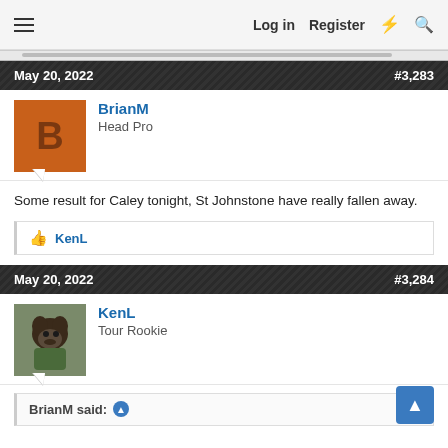≡   Log in   Register   ⚡   🔍
May 20, 2022   #3,283
BrianM
Head Pro
Some result for Caley tonight, St Johnstone have really fallen away.
👍 KenL
May 20, 2022   #3,284
KenL
Tour Rookie
BrianM said: ➤